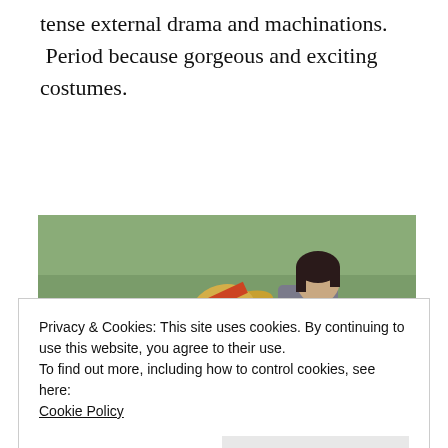tense external drama and machinations. Period because gorgeous and exciting costumes.
[Figure (photo): A woman with dark hair in a field of blue/purple flowers (bluebells), holding a straw hat with an orange/red ribbon. The woman is looking down, wearing a grey outfit. The field is densely packed with blue flowers and green foliage.]
Privacy & Cookies: This site uses cookies. By continuing to use this website, you agree to their use.
To find out more, including how to control cookies, see here: Cookie Policy